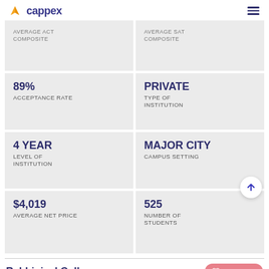cappex
| Metric | Value |
| --- | --- |
| AVERAGE ACT COMPOSITE |  |
| AVERAGE SAT COMPOSITE |  |
| 89% | ACCEPTANCE RATE |
| PRIVATE | TYPE OF INSTITUTION |
| 4 YEAR | LEVEL OF INSTITUTION |
| MAJOR CITY | CAMPUS SETTING |
| $4,019 | AVERAGE NET PRICE |
| 525 | NUMBER OF STUDENTS |
Rabbinical College